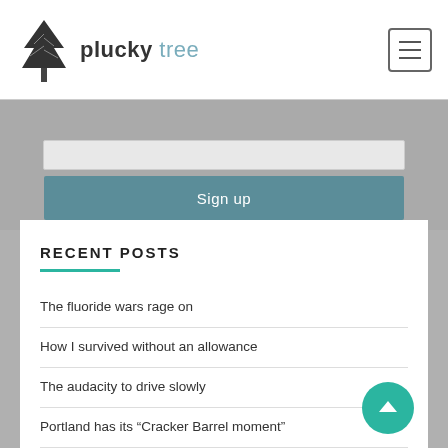plucky tree — navigation header with logo and hamburger menu
Sign up
RECENT POSTS
The fluoride wars rage on
How I survived without an allowance
The audacity to drive slowly
Portland has its “Cracker Barrel moment”
The upside of accidental violence